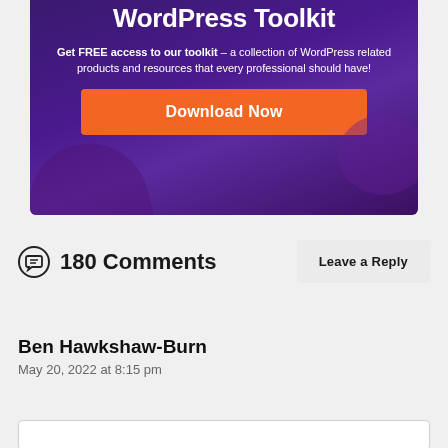[Figure (infographic): Purple gradient banner advertising 'The Ultimate WordPress Toolkit' with a Download Now button]
180 Comments
Leave a Reply
Ben Hawkshaw-Burn
May 20, 2022 at 8:15 pm